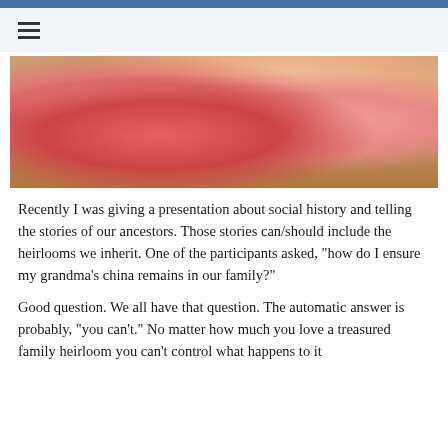≡
[Figure (photo): A young girl in a pink outfit holding a small doll sitting at a table with a woman in a pink top who is pouring from a white teapot into a decorative teacup]
Recently I was giving a presentation about social history and telling the stories of our ancestors. Those stories can/should include the heirlooms we inherit. One of the participants asked, "how do I ensure my grandma's china remains in our family?"
Good question. We all have that question. The automatic answer is probably, "you can't." No matter how much you love a treasured family heirloom you can't control what happens to it